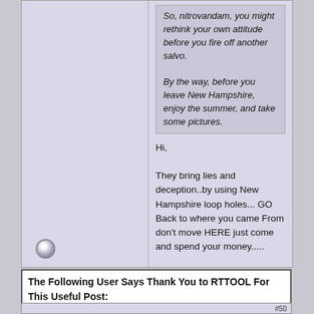So, nitrovandam, you might rethink your own attitude before you fire off another salvo.

By the way, before you leave New Hampshire, enjoy the summer, and take some pictures.
Hi,

They bring lies and deception..by using New Hampshire loop holes... GO Back to where you came From don't move HERE just come and spend your money.....
The Following User Says Thank You to RTTOOL For This Useful Post: